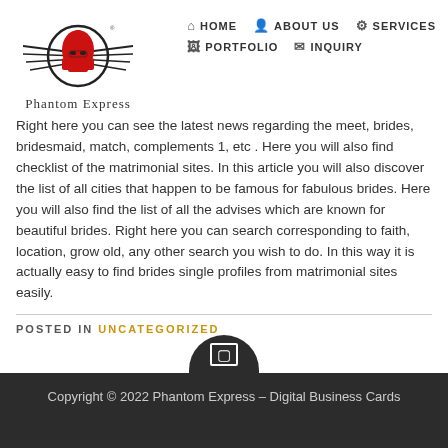Phantom Express — HOME | ABOUT US | SERVICES | PORTFOLIO | INQUIRY
Right here you can see the latest news regarding the meet, brides, bridesmaid, match, complements 1, etc . Here you will also find checklist of the matrimonial sites. In this article you will also discover the list of all cities that happen to be famous for fabulous brides. Here you will also find the list of all the advises which are known for beautiful brides. Right here you can search corresponding to faith, location, grow old, any other search you wish to do. In this way it is actually easy to find brides single profiles from matrimonial sites easily.
POSTED IN UNCATEGORIZED
Copyright © 2022 Phantom Express – Digital Business Cards